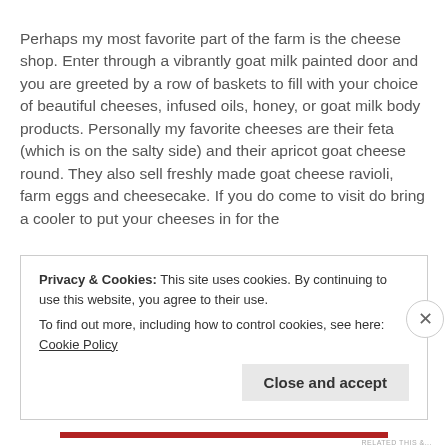Perhaps my most favorite part of the farm is the cheese shop. Enter through a vibrantly goat milk painted door and you are greeted by a row of baskets to fill with your choice of beautiful cheeses, infused oils, honey, or goat milk body products. Personally my favorite cheeses are their feta (which is on the salty side) and their apricot goat cheese round. They also sell freshly made goat cheese ravioli, farm eggs and cheesecake. If you do come to visit do bring a cooler to put your cheeses in for the
Privacy & Cookies: This site uses cookies. By continuing to use this website, you agree to their use.
To find out more, including how to control cookies, see here: Cookie Policy
Close and accept